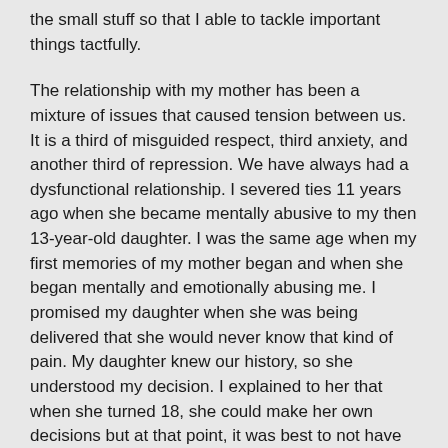the small stuff so that I able to tackle important things tactfully.
The relationship with my mother has been a mixture of issues that caused tension between us. It is a third of misguided respect, third anxiety, and another third of repression. We have always had a dysfunctional relationship. I severed ties 11 years ago when she became mentally abusive to my then 13-year-old daughter. I was the same age when my first memories of my mother began and when she began mentally and emotionally abusing me. I promised my daughter when she was being delivered that she would never know that kind of pain. My daughter knew our history, so she understood my decision. I explained to her that when she turned 18, she could make her own decisions but at that point, it was best to not have my mother to not be in our lives. We reconnected in 2013 after my daughter graduated from high school.
Things are a little better than previously, but there will probably always be a permanent wall up with regards to her. My mother is in my life on a very limited basis. She is a